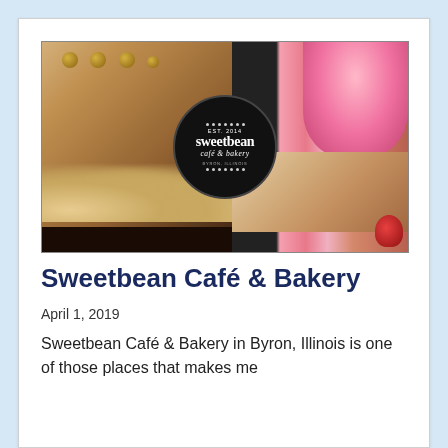[Figure (photo): Composite bakery photo showing a layered cake with cream ruffles and chocolate balls on the left, pink frosted cupcake and pastries on the right, with the Sweetbean Café & Bakery logo circle in the center]
Sweetbean Café & Bakery
April 1, 2019
Sweetbean Café & Bakery in Byron, Illinois is one of those places that makes me